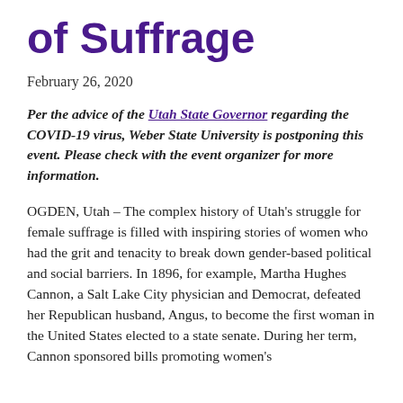of Suffrage
February 26, 2020
Per the advice of the Utah State Governor regarding the COVID-19 virus, Weber State University is postponing this event. Please check with the event organizer for more information.
OGDEN, Utah – The complex history of Utah's struggle for female suffrage is filled with inspiring stories of women who had the grit and tenacity to break down gender-based political and social barriers. In 1896, for example, Martha Hughes Cannon, a Salt Lake City physician and Democrat, defeated her Republican husband, Angus, to become the first woman in the United States elected to a state senate. During her term, Cannon sponsored bills promoting women's